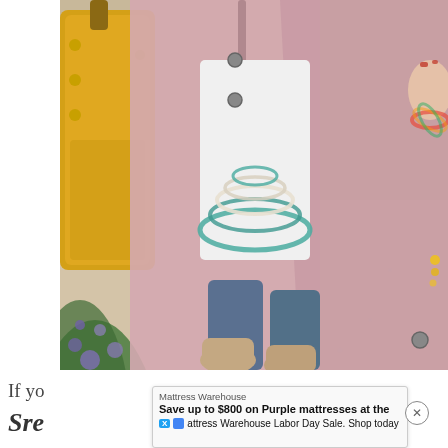[Figure (photo): Overhead/selfie-style photo of a woman wearing a light pink utility jacket open over a white t-shirt with layered turquoise and pearl beaded necklaces, dark blue jeans, and tan suede ankle boots. She carries a mustard yellow handbag on her left. Her right hand holds the jacket open, showing a colorful beaded bracelet. Background shows outdoor pavement with green and purple flowers.]
If yo                                                  ou
Sre
[Figure (screenshot): Advertisement overlay: Mattress Warehouse ad. Title: 'Mattress Warehouse'. Body: 'Save up to $800 on Purple mattresses at the Mattress Warehouse Labor Day Sale. Shop today'. Has X (Twitter) and video play icons. Close button (X in circle) on right.]